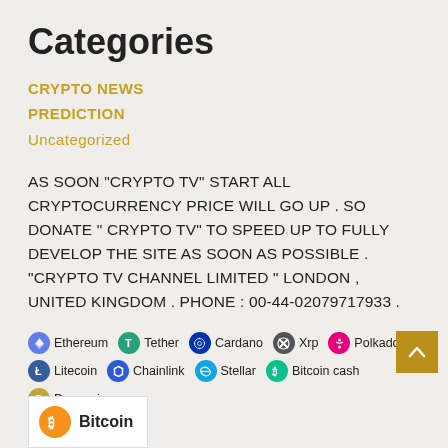Categories
CRYPTO NEWS
PREDICTION
Uncategorized
AS SOON "CRYPTO TV" START ALL CRYPTOCURRENCY PRICE WILL GO UP . SO DONATE " CRYPTO TV" TO SPEED UP TO FULLY DEVELOP THE SITE AS SOON AS POSSIBLE . "CRYPTO TV CHANNEL LIMITED " LONDON , UNITED KINGDOM . PHONE : 00-44-02079717933 .
[Figure (infographic): Row of cryptocurrency icons with labels: Ethereum, Tether, Cardano, Xrp, Polkadot, Litecoin, Chainlink, Stellar, Bitcoin cash, Dogecoin]
[Figure (logo): Bitcoin logo with orange circle icon and bold Bitcoin text on white card background]